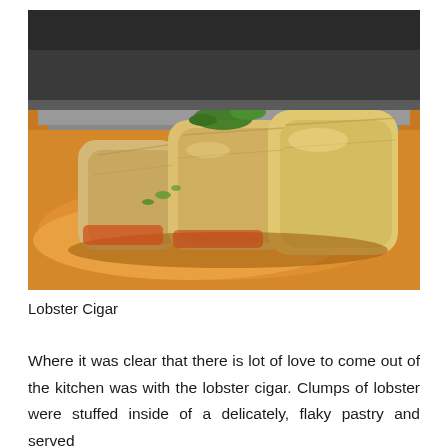[Figure (photo): A lobster cigar — flaky pastry rolls filled with lobster, served on a rectangular plate with orange/yellow sauce and garnished with chopped green onions]
Lobster Cigar
Where it was clear that there is lot of love to come out of the kitchen was with the lobster cigar. Clumps of lobster were stuffed inside of a delicately, flaky pastry and served